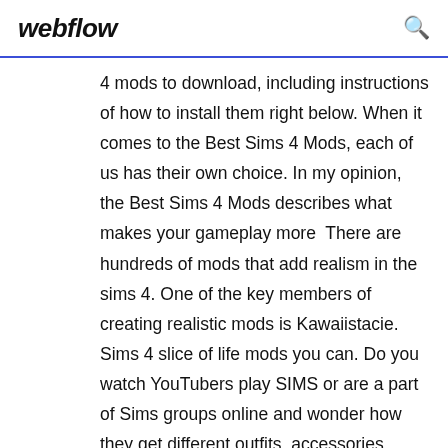webflow
4 mods to download, including instructions of how to install them right below. When it comes to the Best Sims 4 Mods, each of us has their own choice. In my opinion, the Best Sims 4 Mods describes what makes your gameplay more  There are hundreds of mods that add realism in the sims 4. One of the key members of creating realistic mods is Kawaiistacie. Sims 4 slice of life mods you can. Do you watch YouTubers play SIMS or are a part of Sims groups online and wonder how they get different outfits, accessories, make-up and build mode items  You are currently browsing Sims 4 • Mods / Traits • Content. January 18 More Download Less Intrusive Conversations by